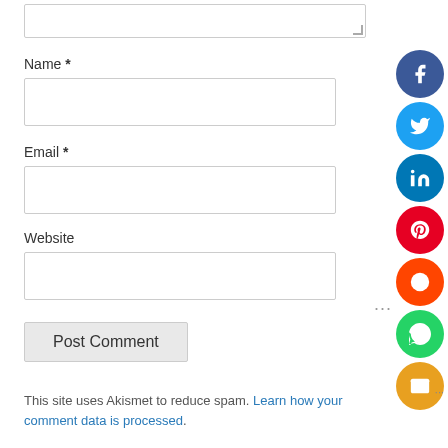Name *
Email *
Website
Post Comment
This site uses Akismet to reduce spam. Learn how your comment data is processed.